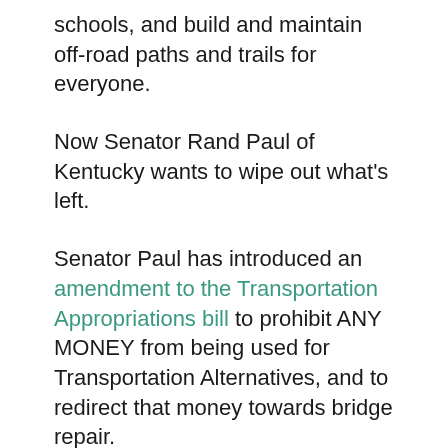schools, and build and maintain off-road paths and trails for everyone.
Now Senator Rand Paul of Kentucky wants to wipe out what’s left.
Senator Paul has introduced an amendment to the Transportation Appropriations bill to prohibit ANY MONEY from being used for Transportation Alternatives, and to redirect that money towards bridge repair.
While we agree that repairing our bridges is important, both for safety and economic development reasons, so are our local economies and the safety of bicyclists and pedestrians. Dedicating the small amount of Transportation Alternatives dedicated bridge repair and left fi...